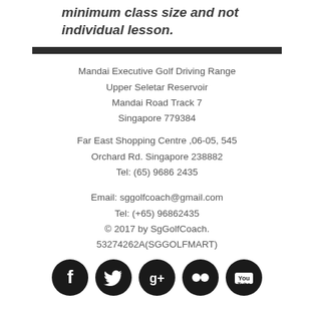minimum class size and not individual lesson.
Mandai Executive Golf Driving Range
Upper Seletar Reservoir
Mandai Road Track 7
Singapore 779384
Far East Shopping Centre ,06-05, 545
Orchard Rd. Singapore 238882
Tel: (65) 9686 2435
Email: sggolfcoach@gmail.com
Tel: (+65) 96862435
© 2017 by SgGolfCoach.
53274262A(SGGOLFMART)
[Figure (infographic): Five social media icons (Facebook, Twitter, Google+, Flickr, YouTube) displayed as white symbols on black circular backgrounds]